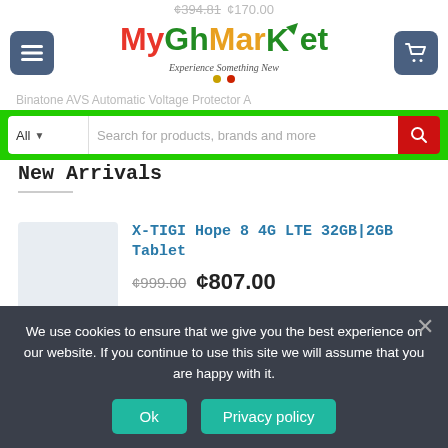[Figure (screenshot): MyGhMarket e-commerce website header with logo, navigation buttons, and search bar]
MyGhMarket – Experience Something New
¢394.81  ¢170.00
Binatone AVS Automatic Voltage Protector A
New Arrivals
X-TIGI Hope 8 4G LTE 32GB|2GB Tablet
¢999.00  ¢807.00
X-TIGI Hope 7 Max 32GB|1GB Smart Tablet
¢569.00
We use cookies to ensure that we give you the best experience on our website. If you continue to use this site we will assume that you are happy with it.
Ok   Privacy policy